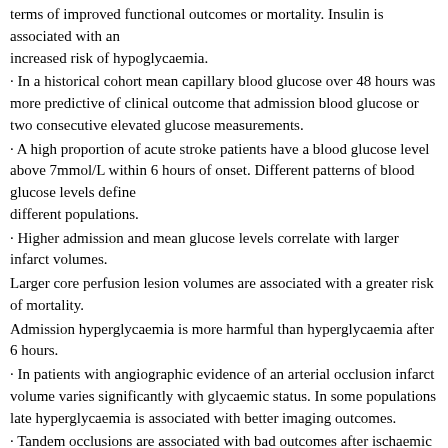terms of improved functional outcomes or mortality. Insulin is associated with an increased risk of hypoglycaemia.
· In a historical cohort mean capillary blood glucose over 48 hours was more predictive of clinical outcome that admission blood glucose or two consecutive elevated glucose measurements.
· A high proportion of acute stroke patients have a blood glucose level above 7mmol/L within 6 hours of onset. Different patterns of blood glucose levels define different populations.
· Higher admission and mean glucose levels correlate with larger infarct volumes.
Larger core perfusion lesion volumes are associated with a greater risk of mortality.
Admission hyperglycaemia is more harmful than hyperglycaemia after 6 hours.
· In patients with angiographic evidence of an arterial occlusion infarct volume varies significantly with glycaemic status. In some populations late hyperglycaemia is associated with better imaging outcomes.
· Tandem occlusions are associated with bad outcomes after ischaemic stroke.